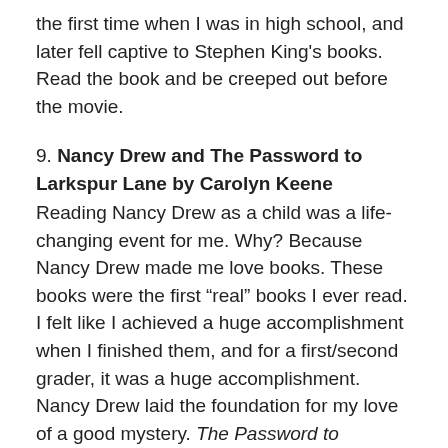the first time when I was in high school, and later fell captive to Stephen King's books. Read the book and be creeped out before the movie.
9. Nancy Drew and The Password to Larkspur Lane by Carolyn Keene
Reading Nancy Drew as a child was a life-changing event for me. Why? Because Nancy Drew made me love books. These books were the first “real” books I ever read. I felt like I achieved a huge accomplishment when I finished them, and for a first/second grader, it was a huge accomplishment. Nancy Drew laid the foundation for my love of a good mystery. The Password to Larkspur Lane is my favorite, if I absolutely had to just pick one favorite. You can read it in a day.
8. Plain Truth by Jodi Picoult